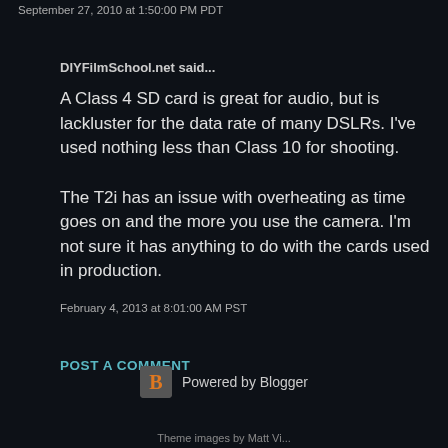September 27, 2010 at 1:50:00 PM PDT
DIYFilmSchool.net said...
A Class 4 SD card is great for audio, but is lackluster for the data rate of many DSLRs. I've used nothing less than Class 10 for shooting.

The T2i has an issue with overheating as time goes on and the more you use the camera. I'm not sure it has anything to do with the cards used in production.
February 4, 2013 at 8:01:00 AM PST
POST A COMMENT
[Figure (logo): Blogger logo icon - orange B on grey rounded square background]
Powered by Blogger
Theme images by Matt Vi...